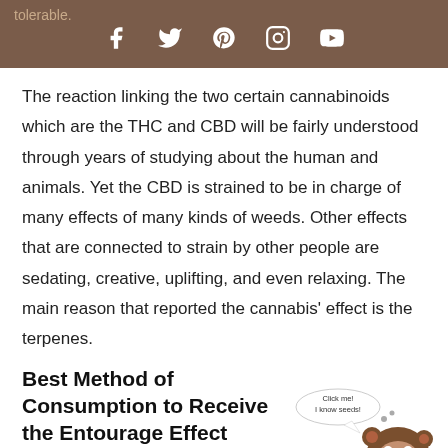tolerable.
The reaction linking the two certain cannabinoids which are the THC and CBD will be fairly understood through years of studying about the human and animals. Yet the CBD is strained to be in charge of many effects of many kinds of weeds. Other effects that are connected to strain by other people are sedating, creative, uplifting, and even relaxing. The main reason that reported the cannabis' effect is the terpenes.
Best Method of Consumption to Receive the Entourage Effect
[Figure (illustration): Cartoon beaver mascot wearing a white t-shirt with a Canadian maple leaf, with a speech bubble saying 'Click me! I know seeds!']
If you are finally satisfied that the entourage effect actual experience and want to feel and focus on you can receive the most incredible weed experience you may consider this method.